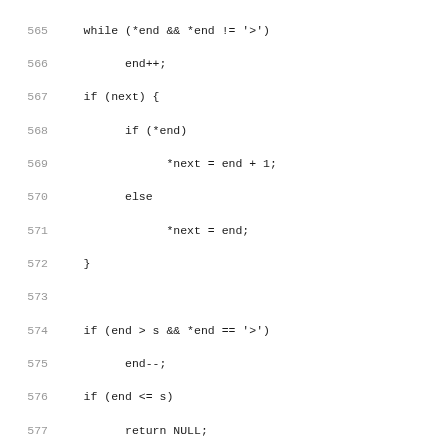Source code listing lines 565–597, showing C code for parsing logic including while loop, if/else branches, talloc_strndup call, whitespace collapse block, and opening of Parse a References header comment.